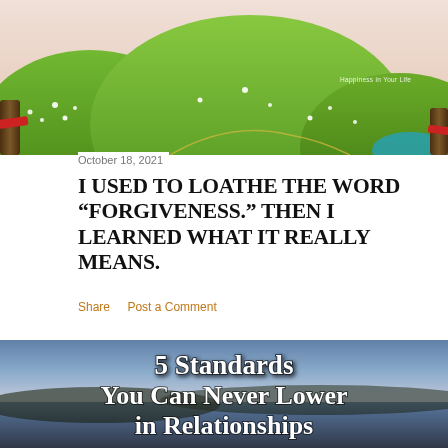[Figure (illustration): Illustrated green rolling hills with white flowers, trees with red ribbons on left and right, teal water patch, pink sky background. Watermark text 'Happiness in Your Life' visible.]
October 18, 2021
I USED TO LOATHE THE WORD "FORGIVENESS." THEN I LEARNED WHAT IT REALLY MEANS.
Share   Post a Comment
[Figure (illustration): Scenic sunset/dusk landscape with water and hills in background. Overlay text reads: '5 Standards You Can Never Lower in Relationships']